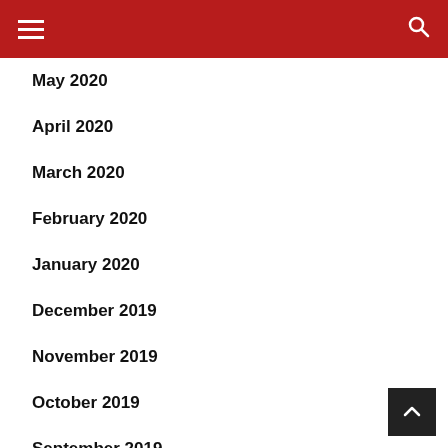Navigation header with hamburger menu and search icon
May 2020
April 2020
March 2020
February 2020
January 2020
December 2019
November 2019
October 2019
September 2019
August 2019
July 2019
June 2019
May 2019
April 2019